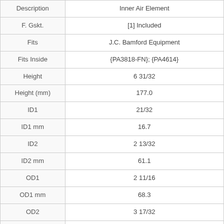| Property | Value |
| --- | --- |
| Description | Inner Air Element |
| F. Gskt. | [1] Included |
| Fits | J.C. Bamford Equipment |
| Fits Inside | {PA3818-FN}; {PA4614} |
| Height | 6 31/32 |
| Height (mm) | 177.0 |
| ID1 | 21/32 |
| ID1 mm | 16.7 |
| ID2 | 2 13/32 |
| ID2 mm | 61.1 |
| OD1 | 2 11/16 |
| OD1 mm | 68.3 |
| OD2 | 3 17/32 |